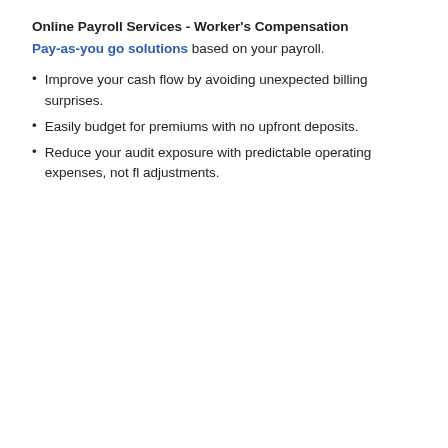Online Payroll Services - Worker's Compensation
Pay-as-you go solutions based on your payroll.
Improve your cash flow by avoiding unexpected billing surprises.
Easily budget for premiums with no upfront deposits.
Reduce your audit exposure with predictable operating expenses, not fl adjustments.